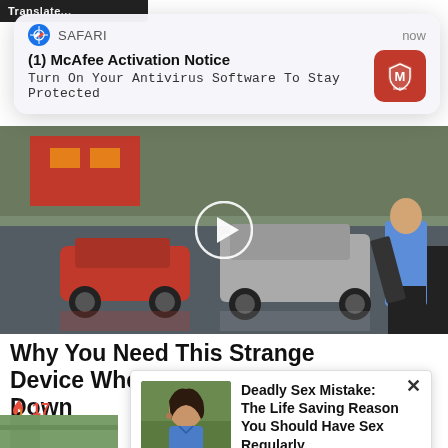Translate...
[Figure (screenshot): Safari browser notification popup showing McAfee Activation Notice: 'Turn On Your Antivirus Software To Stay Protected' with McAfee red icon on the right and 'now' timestamp]
[Figure (photo): Video thumbnail showing a parking lot/drive-through scene with a red car, silver SUV, and a man in a blue shirt standing by an open car door, with a circular play button overlay]
Why You Need This Strange Device When The Grid Goes Down
17
[Figure (screenshot): Ad popup with close X button, showing a woman with dark hair in a blue shirt, with text: 'Deadly Sex Mistake: The Life Saving Reason You Should Have Sex Regularly' - Nutrition and Healing]